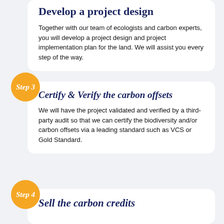Develop a project design
Together with our team of ecologists and carbon experts, you will develop a project design and project implementation plan for the land. We will assist you every step of the way.
Step 3
Certify & Verify the carbon offsets
We will have the project validated and verified by a third-party audit so that we can certify the biodiversity and/or carbon offsets via a leading standard such as VCS or Gold Standard.
Step 4
Sell the carbon credits